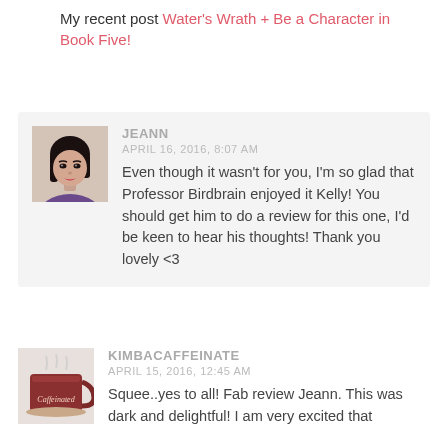My recent post Water's Wrath + Be a Character in Book Five!
JEANN
APRIL 16, 2016, 8:07 AM
Even though it wasn't for you, I'm so glad that Professor Birdbrain enjoyed it Kelly! You should get him to do a review for this one, I'd be keen to hear his thoughts! Thank you lovely <3
KIMBACAFFEINATE
APRIL 15, 2016, 12:45 AM
Squee..yes to all! Fab review Jeann. This was dark and delightful! I am very excited that